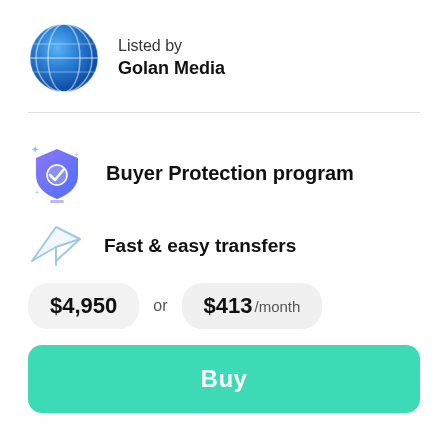[Figure (logo): Blue globe/world icon with grid lines]
Listed by
Golan Media
[Figure (illustration): Shield icon with checkmark and sparkles, blue/purple gradient]
Buyer Protection program
[Figure (illustration): Paper airplane / fast transfer icon in light blue outline]
Fast & easy transfers
$4,950 or $413 /month
Buy